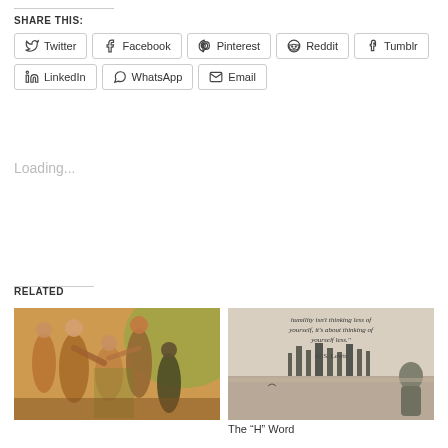SHARE THIS:
Twitter
Facebook
Pinterest
Reddit
Tumblr
LinkedIn
WhatsApp
Email
Loading...
RELATED
[Figure (illustration): Religious or biblical painting showing robed figures, possibly apostles or prophets, gathered together with warm orange and green tones.]
[Figure (photo): Black and white photo of a person sitting by water with a city skyline, overlaid with a C.S. Lewis quote about humility: "humility isn't thinking less of yourself, it's about thinking of yourself less." -C.S. Lewis]
The “H” Word